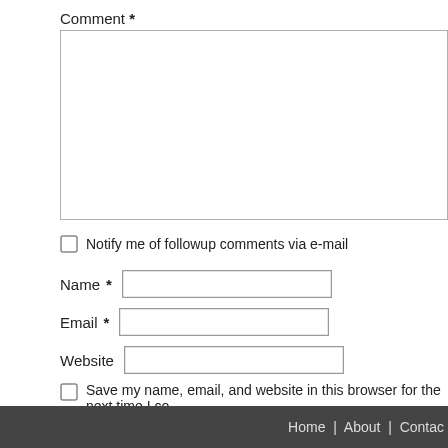Comment *
Notify me of followup comments via e-mail
Name *
Email *
Website
Save my name, email, and website in this browser for the next time I co
Sign me up for the Trevor's Birding newsletter!
Post Comment
Home | About | Contac